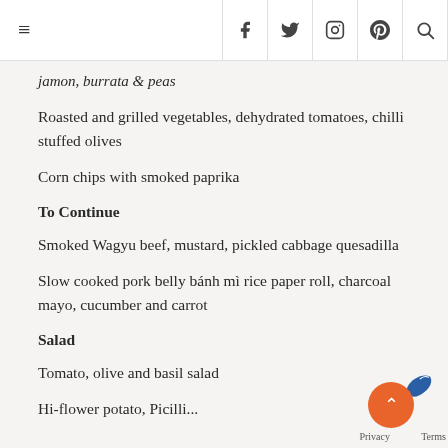≡  f  🐦  📷   pinterest  🔍
jamon, burrata & peas
Roasted and grilled vegetables, dehydrated tomatoes, chilli stuffed olives
Corn chips with smoked paprika
To Continue
Smoked Wagyu beef, mustard, pickled cabbage quesadilla
Slow cooked pork belly bánh mì rice paper roll, charcoal mayo, cucumber and carrot
Salad
Tomato, olive and basil salad
Hi-flower potato, Picilli...